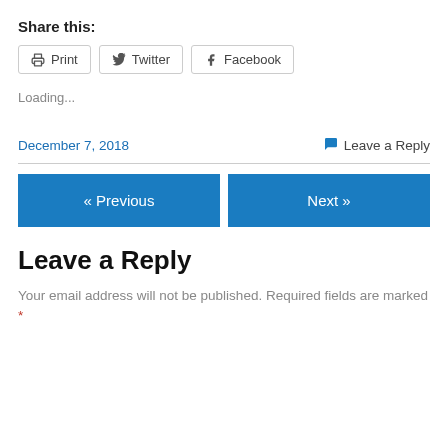Share this:
Print  Twitter  Facebook
Loading...
December 7, 2018
Leave a Reply
« Previous
Next »
Leave a Reply
Your email address will not be published. Required fields are marked *